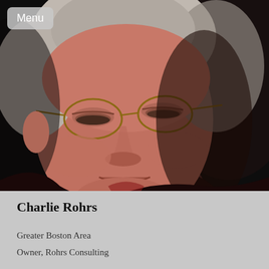[Figure (photo): Close-up portrait photo of an older man with white/gray hair, round wire-framed glasses, and a slight smile, wearing a dark shirt with red details. Photo is taken in low/dark lighting with a dark background.]
Menu
Charlie Rohrs
Greater Boston Area
Owner, Rohrs Consulting